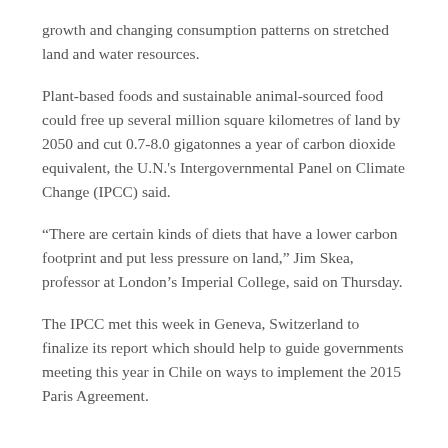growth and changing consumption patterns on stretched land and water resources.
Plant-based foods and sustainable animal-sourced food could free up several million square kilometres of land by 2050 and cut 0.7-8.0 gigatonnes a year of carbon dioxide equivalent, the U.N.'s Intergovernmental Panel on Climate Change (IPCC) said.
“There are certain kinds of diets that have a lower carbon footprint and put less pressure on land,” Jim Skea, professor at London’s Imperial College, said on Thursday.
The IPCC met this week in Geneva, Switzerland to finalize its report which should help to guide governments meeting this year in Chile on ways to implement the 2015 Paris Agreement.